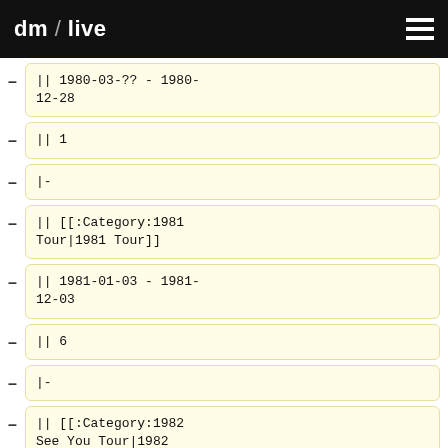dm / live
|| 1980-03-?? - 1980-12-28
|| 1
|-
|| [[:Category:1981 Tour|1981 Tour]]
|| 1981-01-03 - 1981-12-03
|| 6
|-
|| [[:Category:1982 See You Tour|1982 "See You" Tour]]
|| 1982-01-20 - 1982-05-16